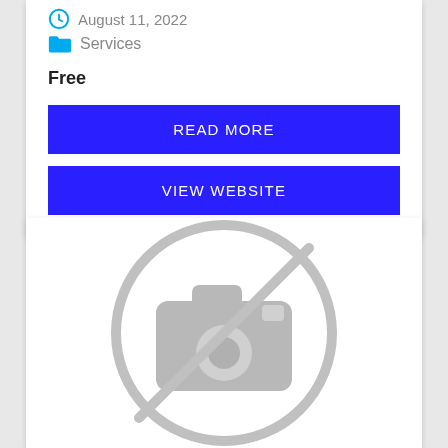August 11, 2022
Services
Free
READ MORE
VIEW WEBSITE
[Figure (illustration): A gray no-image placeholder icon: a camera with a circle and diagonal slash through it, indicating no image available.]